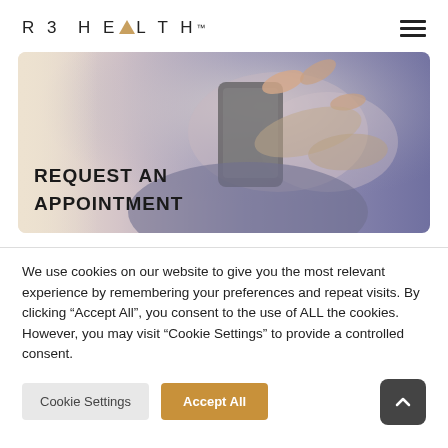R3 HEALTH™
[Figure (photo): Person using smartphone with two hands. Hero banner image for 'Request an Appointment' page on R3 Health website. Text overlay reads 'REQUEST AN APPOINTMENT' in bold uppercase black letters.]
We use cookies on our website to give you the most relevant experience by remembering your preferences and repeat visits. By clicking "Accept All", you consent to the use of ALL the cookies. However, you may visit "Cookie Settings" to provide a controlled consent.